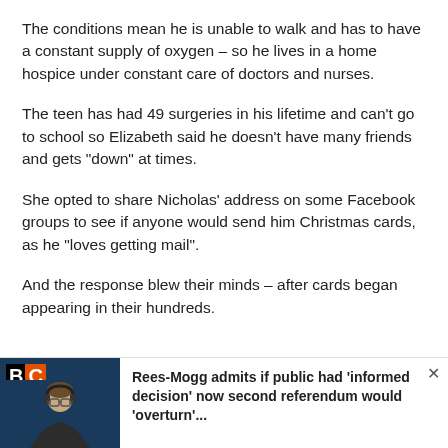The conditions mean he is unable to walk and has to have a constant supply of oxygen – so he lives in a home hospice under constant care of doctors and nurses.
The teen has had 49 surgeries in his lifetime and can't go to school so Elizabeth said he doesn't have many friends and gets "down" at times.
She opted to share Nicholas' address on some Facebook groups to see if anyone would send him Christmas cards, as he "loves getting mail".
And the response blew their minds – after cards began appearing in their hundreds.
[Figure (screenshot): LBC radio advertisement banner showing a man with headphones and text: Rees-Mogg admits if public had 'informed decision' now second referendum would 'overturn'...]